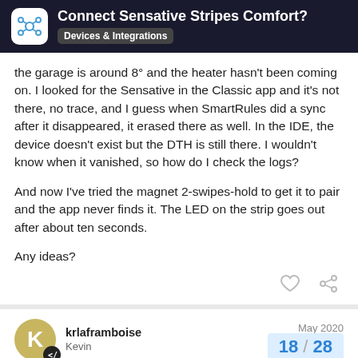Connect Sensative Stripes Comfort? Devices & Integrations
the garage is around 8° and the heater hasn't been coming on. I looked for the Sensative in the Classic app and it's not there, no trace, and I guess when SmartRules did a sync after it disappeared, it erased there as well. In the IDE, the device doesn't exist but the DTH is still there. I wouldn't know when it vanished, so how do I check the logs?
And now I've tried the magnet 2-swipes-hold to get it to pair and the app never finds it. The LED on the strip goes out after about ten seconds.
Any ideas?
krlaframboise Kevin May 2020 18 / 28